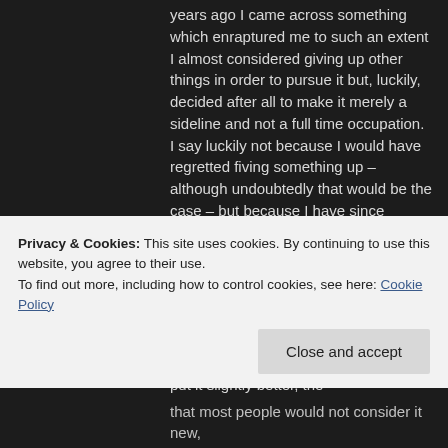years ago I came across something which enraptured me to such an extent I almost considered giving up other things in order to pursue it but, luckily, decided after all to make it merely a sideline and not a full time occupation. I say luckily not because I would have regretted fiving something up – although undoubtedly that would be the case – but because I have since discovered that I can continue with my other interests at the same time and, in many ways, they complement one another. Not that I am going to mix them together, that would be an almost impossible task, but the one does not rule out enjoyment of the other or, to put it slightly better, the
that most people would not consider it new,
Privacy & Cookies: This site uses cookies. By continuing to use this website, you agree to their use.
To find out more, including how to control cookies, see here: Cookie Policy